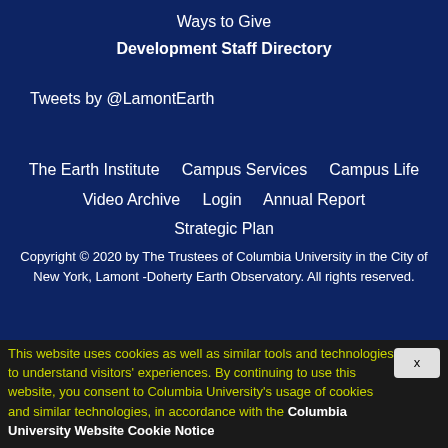Ways to Give
Development Staff Directory
Tweets by @LamontEarth
The Earth Institute
Campus Services
Campus Life
Video Archive
Login
Annual Report
Strategic Plan
Copyright © 2020 by The Trustees of Columbia University in the City of New York, Lamont -Doherty Earth Observatory. All rights reserved.
Support Lamont Research
This website uses cookies as well as similar tools and technologies to understand visitors' experiences. By continuing to use this website, you consent to Columbia University's usage of cookies and similar technologies, in accordance with the Columbia University Website Cookie Notice